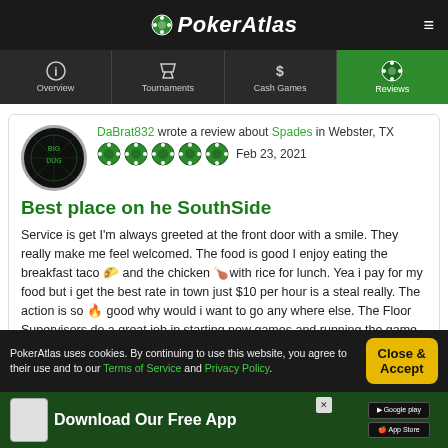PokerAtlas
Overview | Tournaments | Cash Games | Reviews
DaBrat832 wrote a review about Spades in Webster, TX
Feb 23, 2021
Best place on he SouthSide
Service is get I'm always greeted at the front door with a smile. They really make me feel welcomed. The food is good I enjoy eating the breakfast taco 🌮 and the chicken 🍗with rice for lunch. Yea i pay for my food but i get the best rate in town just $10 per hour is a steal really. The action is so 🔥 good why would i want to go any where else. The Floor Supervisors do a great job in starting new games and running the game the way it is expected to play. Great Club and best Club in the Houston area.
PokerAtlas uses cookies. By continuing to use this website, you agree to their use and to our Terms of Service and Privacy Policy.
Close & Accept
Download Our Free App